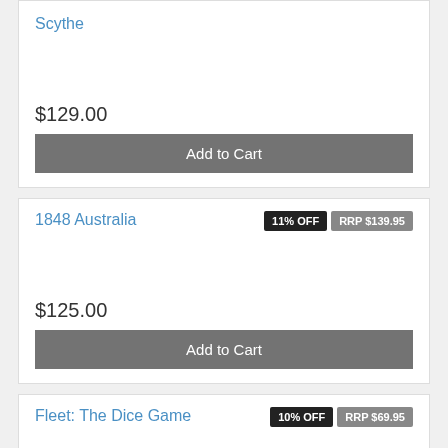Scythe
$129.00
Add to Cart
11% OFF
RRP $139.95
1848 Australia
$125.00
Add to Cart
10% OFF
RRP $69.95
Fleet: The Dice Game
$63.00